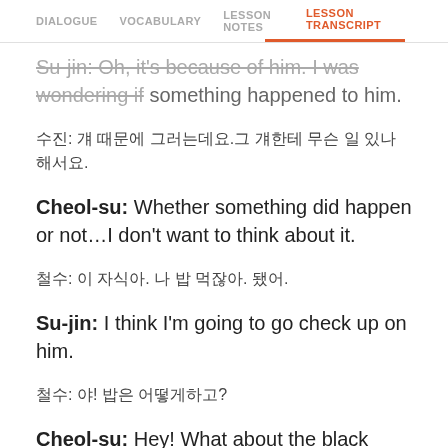DIALOGUE  VOCABULARY  LESSON NOTES  LESSON TRANSCRIPT
Su-jin: Oh, it's because of him. I was wondering if something happened to him.
수진: 걔 때문에 그러는데요. 걔한테 무슨 일이 있나 해서요.
Cheol-su: Whether something did happen or not…I don't want to think about it.
철수: 이 자식아. 나 밥 먹잖아. 됐어.
Su-jin: I think I'm going to go check up on him.
철수: 야! 밥은 어떻게하고?
Cheol-su: Hey! What about the black bean noodles?
수진: 먹고 나 걔네 집에 잠깐 들렸다 올게 요!